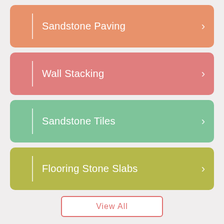Sandstone Paving
Wall Stacking
Sandstone Tiles
Flooring Stone Slabs
View All